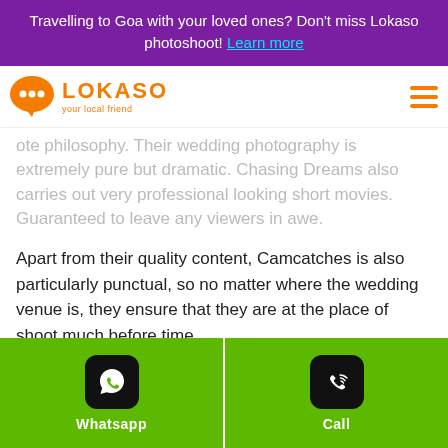Travelling to Goa with your loved ones? Don't miss Lokaso photoshoot! Learn more
[Figure (logo): Lokaso logo with orange speech bubble icon and text 'LOKASO — your local friend']
ote philosophy. Their wedding photography is extremely pure but dramatic. Chasing Dreams also carries out very professional looking short movies. Guaranteed to leave any viewers in awe.
Apart from their quality content, Camcatches is also particularly punctual, so no matter where the wedding venue is, they ensure that they are at the place of shoot much before time
[Figure (photo): Blurred outdoor photo showing a wedding venue with bokeh background.]
Whatsapp
Call